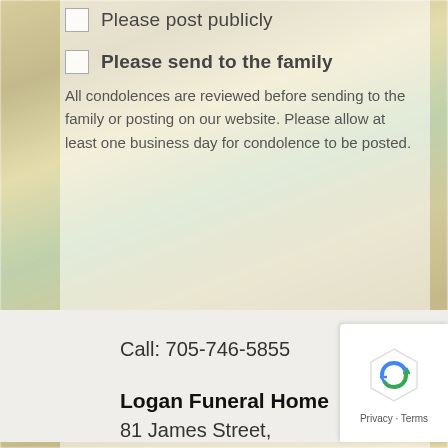Please post publicly
Please send to the family
All condolences are reviewed before sending to the family or posting on our website. Please allow at least one business day for condolence to be posted.
Send Condolences
Call: 705-746-5855
Logan Funeral Home
81 James Street,